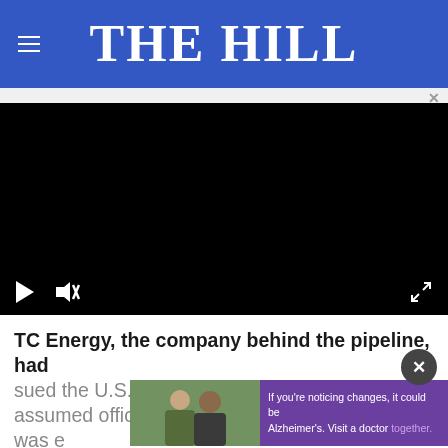THE HILL
[Figure (screenshot): Black video player with play button, mute icon, and fullscreen expand icon on bottom controls]
TC Energy, the company behind the pipeline, had sued the U.S. government before President Trump assumed office. TC Energy said the suit was e...
[Figure (photo): Advertisement overlay showing two men and text: If you're noticing changes, it could be Alzheimer's. Visit a doctor together.]